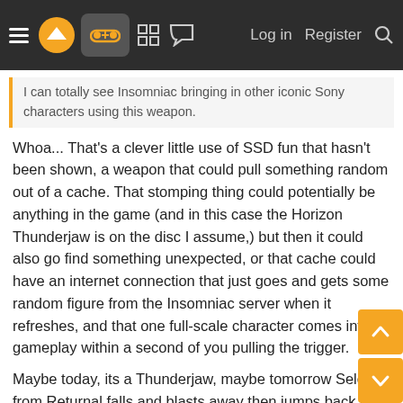Navigation bar with hamburger menu, logo, gamepad icon (active), grid icon, chat icon, Log in, Register, Search
I can totally see Insomniac bringing in other iconic Sony characters using this weapon.
Whoa... That's a clever little use of SSD fun that hasn't been shown, a weapon that could pull something random out of a cache. That stomping thing could potentially be anything in the game (and in this case the Horizon Thunderjaw is on the disc I assume,) but then it could also go find something unexpected, or that cache could have an internet connection that just goes and gets some random figure from the Insomniac server when it refreshes, and that one full-scale character comes into gameplay within a second of you pulling the trigger.
Maybe today, its a Thunderjaw, maybe tomorrow Selene from Returnal falls and blasts away then jumps back into the rift, maybe the day after giant Astro Bot or a Warhawk... whatever gets pre-filled to show up could just be there on the SSD, waiting to be called up into gameplay action.